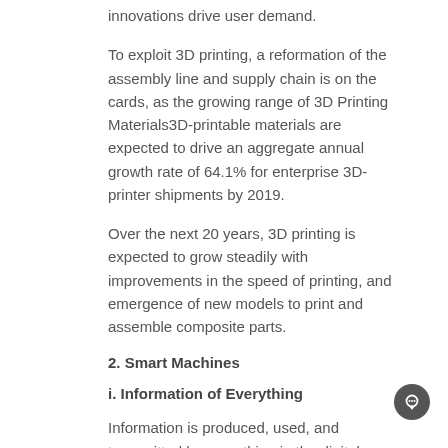innovations drive user demand.
To exploit 3D printing, a reformation of the assembly line and supply chain is on the cards, as the growing range of 3D Printing Materials3D-printable materials are expected to drive an aggregate annual growth rate of 64.1% for enterprise 3D-printer shipments by 2019.
Over the next 20 years, 3D printing is expected to grow steadily with improvements in the speed of printing, and emergence of new models to print and assemble composite parts.
2. Smart Machines
i. Information of Everything
Information is produced, used, and transmitted by everything in the digital mesh. This information goes beyond audio, video, and textual information, and